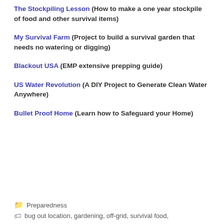The Stockpiling Lesson (How to make a one year stockpile of food and other survival items)
My Survival Farm (Project to build a survival garden that needs no watering or digging)
Blackout USA (EMP extensive prepping guide)
US Water Revolution (A DIY Project to Generate Clean Water Anywhere)
Bullet Proof Home (Learn how to Safeguard your Home)
Preparedness
bug out location, gardening, off-grid, survival food,